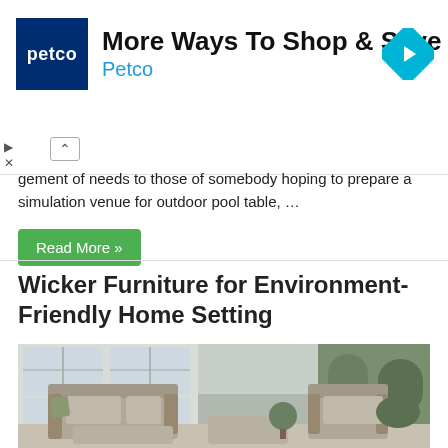[Figure (screenshot): Petco advertisement banner with Petco logo on dark blue background, headline 'More Ways To Shop & Save', subtext 'Petco' in blue, and a cyan diamond-shaped navigation arrow icon on the right]
gement of needs to those of somebody hoping to prepare a simulation venue for outdoor pool table, …
Read More »
Wicker Furniture for Environment-Friendly Home Setting
[Figure (photo): Outdoor wicker furniture set with grey cushions including a sofa, chaise lounge, ottoman and armchair on a patio with glass doors and garden in background]